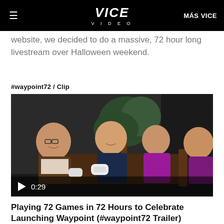VICE VIDEO | MÁS VICE
website, we decided to do a massive, 72 hour long livestream over Halloween weekend.
#waypoint72 / Clip
[Figure (photo): Group of people sitting on a couch playing video games together, smiling and laughing. Several people holding game controllers. Large plant in the background. Video play button overlay showing 0:29 duration.]
Playing 72 Games in 72 Hours to Celebrate Launching Waypoint (#waypoint72 Trailer)